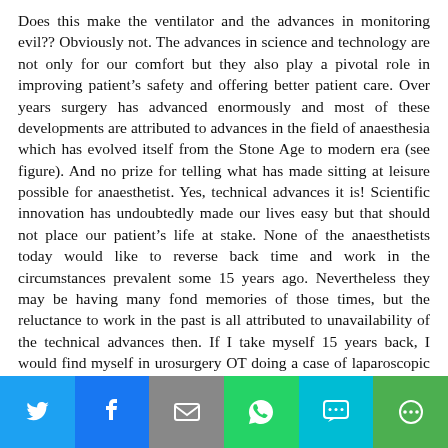Does this make the ventilator and the advances in monitoring evil?? Obviously not. The advances in science and technology are not only for our comfort but they also play a pivotal role in improving patient's safety and offering better patient care. Over years surgery has advanced enormously and most of these developments are attributed to advances in the field of anaesthesia which has evolved itself from the Stone Age to modern era (see figure). And no prize for telling what has made sitting at leisure possible for anaesthetist. Yes, technical advances it is! Scientific innovation has undoubtedly made our lives easy but that should not place our patient's life at stake. None of the anaesthetists today would like to reverse back time and work in the circumstances prevalent some 15 years ago. Nevertheless they may be having many fond memories of those times, but the reluctance to work in the past is all attributed to unavailability of the technical advances then. If I take myself 15 years back, I would find myself in urosurgery OT doing a case of laparoscopic nephrectomy (proposed as
[Figure (other): Social media share bar with icons for Twitter, Facebook, Email, WhatsApp, SMS, and More]